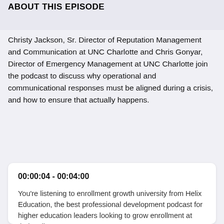ABOUT THIS EPISODE
Christy Jackson, Sr. Director of Reputation Management and Communication at UNC Charlotte and Chris Gonyar, Director of Emergency Management at UNC Charlotte join the podcast to discuss why operational and communicational responses must be aligned during a crisis, and how to ensure that actually happens.
00:00:04 - 00:04:00
You're listening to enrollment growth university from Helix Education, the best professional development podcast for higher education leaders looking to grow enrollment at their college or